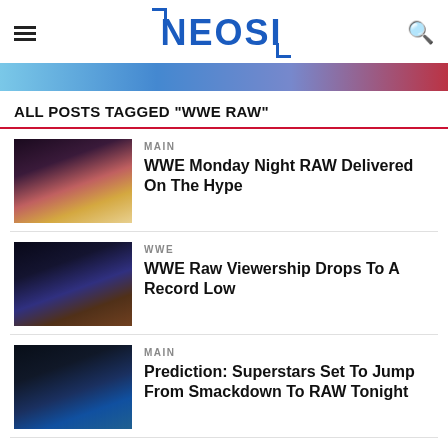NEOSI
ALL POSTS TAGGED "WWE RAW"
MAIN
WWE Monday Night RAW Delivered On The Hype
WWE
WWE Raw Viewership Drops To A Record Low
MAIN
Prediction: Superstars Set To Jump From Smackdown To RAW Tonight
MAIN
Burning Questions And Hot Takes From WWE RAW